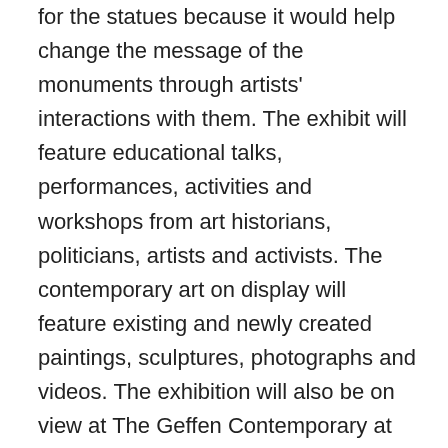for the statues because it would help change the message of the monuments through artists' interactions with them. The exhibit will feature educational talks, performances, activities and workshops from art historians, politicians, artists and activists. The contemporary art on display will feature existing and newly created paintings, sculptures, photographs and videos. The exhibition will also be on view at The Geffen Contemporary at MOCA. ‘A frequent argument against removing monuments from public space claims that doing so is ‘erasing history’; we intend to do quite the opposite by examining these objects in their entirety with historical depth and nuance,’ Hamza Walker wrote in a description of the upcoming exhibit. The loan will last a year or more for the four-month exhibit. After that, it is unclear where the monuments will go. Perhaps the exhibit will become successful and travel the country,